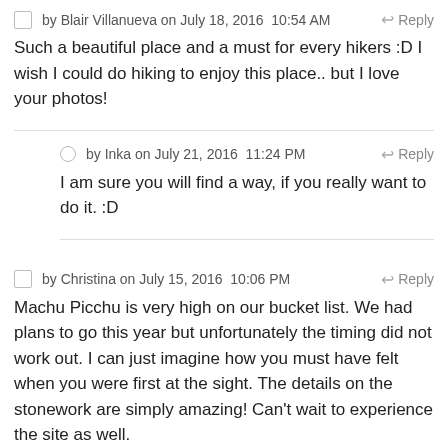by Blair Villanueva on July 18, 2016  10:54 AM   Reply
Such a beautiful place and a must for every hikers :D I wish I could do hiking to enjoy this place.. but I love your photos!
by Inka on July 21, 2016  11:24 PM   Reply
I am sure you will find a way, if you really want to do it. :D
by Christina on July 15, 2016  10:06 PM   Reply
Machu Picchu is very high on our bucket list. We had plans to go this year but unfortunately the timing did not work out. I can just imagine how you must have felt when you were first at the sight. The details on the stonework are simply amazing! Can't wait to experience the site as well.